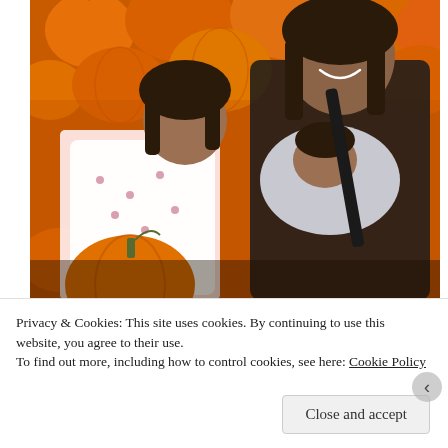[Figure (photo): A woman wearing sunglasses holds a baby in a carrier while a young girl stands beside her, all surrounded by orange pumpkins at what appears to be a pumpkin patch.]
Privacy & Cookies: This site uses cookies. By continuing to use this website, you agree to their use.
To find out more, including how to control cookies, see here: Cookie Policy
Close and accept